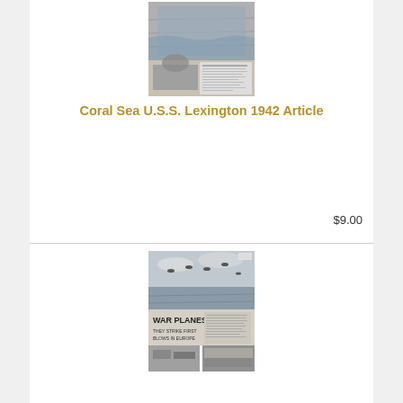[Figure (photo): Black and white photograph of USS Lexington at sea, with ship visible and explosion or smoke, accompanied by a newspaper article clipping below it]
Coral Sea U.S.S. Lexington 1942 Article
$9.00
[Figure (photo): Black and white photograph showing warplanes flying over ocean and aerial views, with text 'WAR PLANES - THEY STRIKE FIRST BLOWS IN EUROPE' visible on the article clipping]